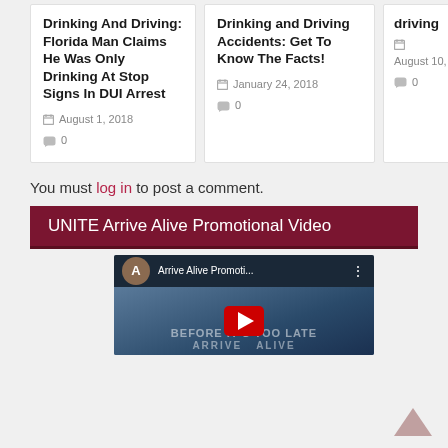Drinking And Driving: Florida Man Claims He Was Only Drinking At Stop Signs In DUI Arrest
August 1, 2018  0
Drinking and Driving Accidents: Get To Know The Facts!
January 24, 2018  0
August 10, 2012  0
You must log in to post a comment.
UNITE Arrive Alive Promotional Video
[Figure (screenshot): YouTube video thumbnail for 'Arrive Alive Promoti...' showing text 'BEFORE IT'S TOO LATE' and 'ARRIVE ALIVE' with a red YouTube play button.]